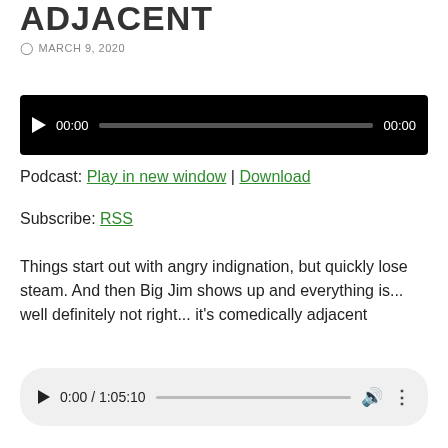ADJACENT
MARCH 9, 2020
[Figure (other): Black audio media player with play button, 00:00 time display on left, progress bar, and 00:00 on right]
Podcast: Play in new window | Download
Subscribe: RSS
Things start out with angry indignation, but quickly lose steam. And then Big Jim shows up and everything is... well definitely not right... it's comedically adjacent
[Figure (other): Grey native-style audio player with play button, 0:00 / 1:05:10 time, progress bar, volume icon, and options dots]